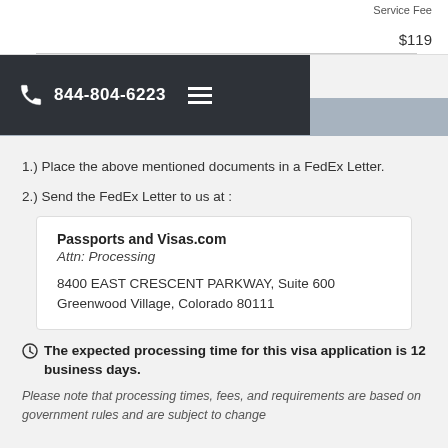Service Fee
$119
[Figure (screenshot): Dark navigation bar with phone icon, phone number 844-804-6223, and hamburger menu icon]
1.) Place the above mentioned documents in a FedEx Letter.
2.) Send the FedEx Letter to us at :
Passports and Visas.com
Attn: Processing

8400 EAST CRESCENT PARKWAY, Suite 600
Greenwood Village, Colorado 80111
The expected processing time for this visa application is 12 business days.
Please note that processing times, fees, and requirements are based on government rules and are subject to change